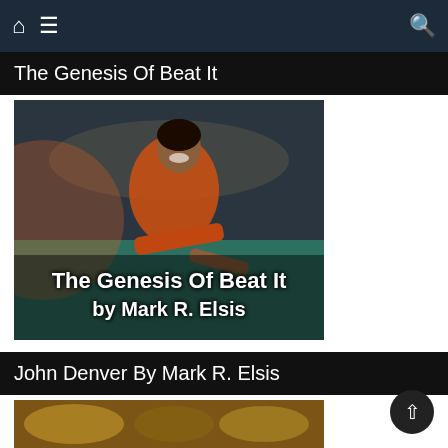Navigation bar with home, menu, and search icons
The Genesis Of Beat It
[Figure (photo): Person in orange jacket leaning on a pool table, smiling, in a dimly lit room. Text overlay reads 'The Genesis Of Beat It by Mark R. Elsis']
The Genesis Of Beat It by Mark R. Elsis
John Denver By Mark R. Elsis
[Figure (photo): Partial view of a second article thumbnail image at the bottom of the page]